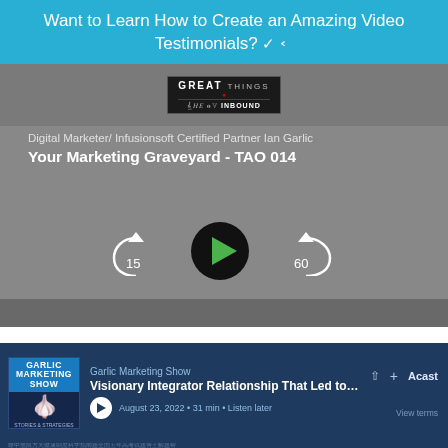Want to Learn How to Create an Amazing Video Testimonials? ∨
[Figure (screenshot): Video podcast player showing episode 'Your Marketing Graveyard - TAO 014' by Digital Marketer/Infusionsoft Certified Partner Ian Garlic, with play button, skip back 15s and skip forward 60s controls on a grey background.]
[Figure (screenshot): Acast podcast player widget showing Garlic Marketing Show episode 'Visionary Integrator Relationship That Led to the...' from August 23, 2022, 31 min, with Listen later option.]